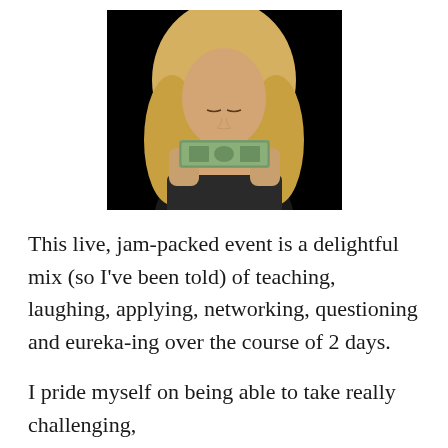[Figure (photo): A blonde woman with eyes closed holding a stack of dollar bills up to her face against a black background]
This live, jam-packed event is a delightful mix (so I've been told) of teaching, laughing, applying, networking, questioning and eureka-ing over the course of 2 days.
I pride myself on being able to take really challenging,